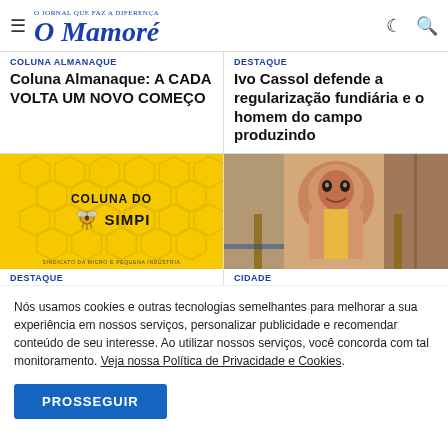O Mamoré — O JORNAL QUE FAZ A DIFERENÇA
COLUNA ALMANAQUE
Coluna Almanaque: A CADA VOLTA UM NOVO COMEÇO
DESTAQUE
Ivo Cassol defende a regularização fundiária e o homem do campo produzindo
[Figure (photo): Yellow background graphic with honeycomb pattern, text reading COLUNA DO SIMPI (Sindicato da Micro e Pequena Indústria) with bee icon]
[Figure (photo): Photo of a young smiling boy in a yellow shirt, indoor/outdoor setting]
DESTAQUE
CIDADE
Nós usamos cookies e outras tecnologias semelhantes para melhorar a sua experiência em nossos serviços, personalizar publicidade e recomendar conteúdo de seu interesse. Ao utilizar nossos serviços, você concorda com tal monitoramento. Veja nossa Política de Privacidade e Cookies.
PROSSEGUIR